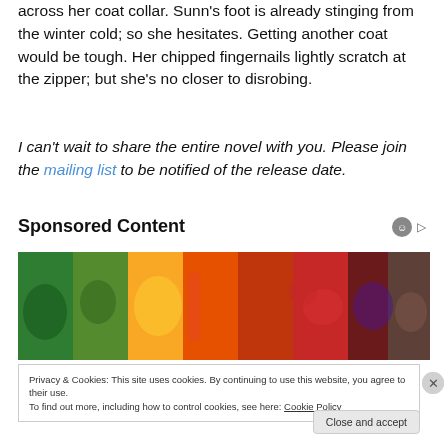across her coat collar. Sunn's foot is already stinging from the winter cold; so she hesitates. Getting another coat would be tough. Her chipped fingernails lightly scratch at the zipper; but she's no closer to disrobing.
I can't wait to share the entire novel with you. Please join the mailing list to be notified of the release date.
Sponsored Content
[Figure (photo): A colorful spread of fresh vegetables and produce including broccoli, peppers, papaya, carrots, tomatoes, and potatoes arranged in a rainbow pattern.]
Privacy & Cookies: This site uses cookies. By continuing to use this website, you agree to their use. To find out more, including how to control cookies, see here: Cookie Policy